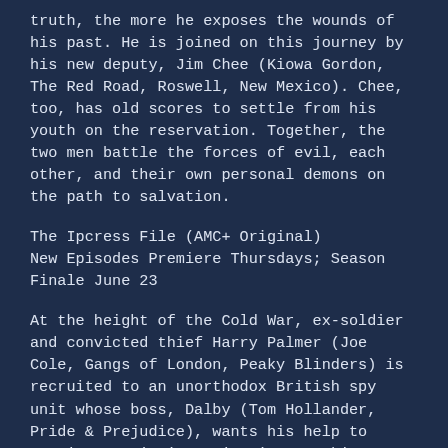truth, the more he exposes the wounds of his past. He is joined on this journey by his new deputy, Jim Chee (Kiowa Gordon, The Red Road, Roswell, New Mexico). Chee, too, has old scores to settle from his youth on the reservation. Together, the two men battle the forces of evil, each other, and their own personal demons on the path to salvation.
The Ipcress File (AMC+ Original)
New Episodes Premiere Thursdays; Season Finale June 23
At the height of the Cold War, ex-soldier and convicted thief Harry Palmer (Joe Cole, Gangs of London, Peaky Blinders) is recruited to an unorthodox British spy unit whose boss, Dalby (Tom Hollander, Pride & Prejudice), wants his help to retrieve a missing scientist. Working alongside cool, ambitious agent Jean (Lucy Boynton,